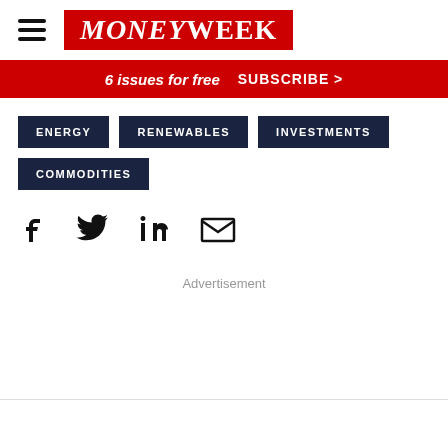MoneyWeek
6 issues for free  SUBSCRIBE >
ENERGY
RENEWABLES
INVESTMENTS
COMMODITIES
[Figure (other): Social share icons: Facebook, Twitter, LinkedIn, Email]
Advertisement